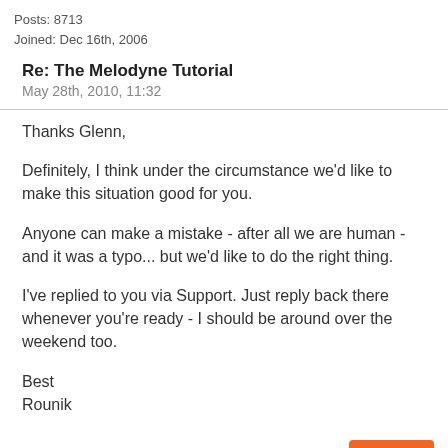Posts: 8713
Joined: Dec 16th, 2006
Re: The Melodyne Tutorial
May 28th, 2010, 11:32
Thanks Glenn,

Definitely, I think under the circumstance we'd like to make this situation good for you.

Anyone can make a mistake - after all we are human - and it was a typo... but we'd like to do the right thing.

I've replied to you via Support. Just reply back there whenever you're ready - I should be around over the weekend too.

Best
Rounik
Reply
[Figure (photo): Avatar silhouette icon of a person on grey background]